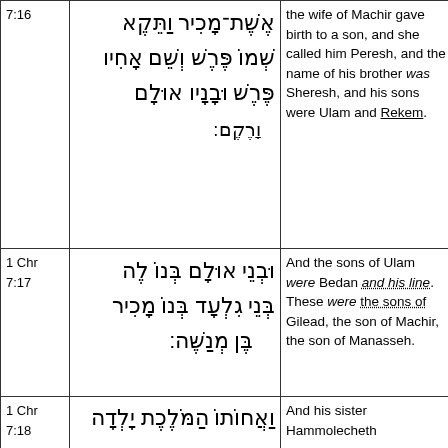| Reference | Hebrew | English | Extra |
| --- | --- | --- | --- |
| 1 Chr 7:16 | [Hebrew text] | the wife of Machir gave birth to a son, and she called him Peresh, and the name of his brother was Sheresh, and his sons were Ulam and Rekem. |  |
| 1 Chr 7:17 | [Hebrew text] | And the sons of Ulam were Bedan and his line. These were the sons of Gilead, the son of Machir, the son of Manasseh. |  |
| 1 Chr 7:18 | [Hebrew text] | And his sister Hammolecheth |  |